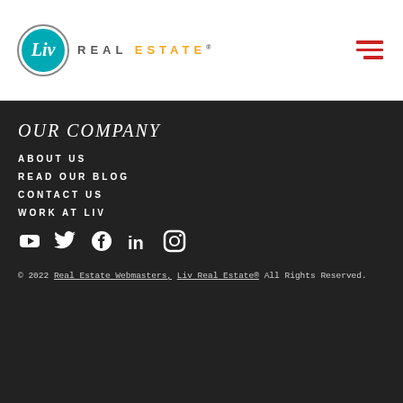Liv Real Estate
OUR COMPANY
ABOUT US
READ OUR BLOG
CONTACT US
WORK AT LIV
[Figure (illustration): Social media icons: YouTube, Twitter, Facebook, LinkedIn, Instagram]
© 2022 Real Estate Webmasters, Liv Real Estate® All Rights Reserved.